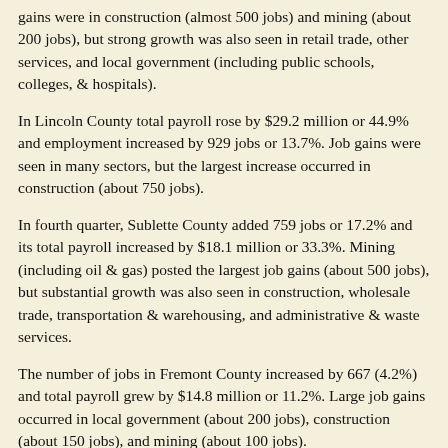gains were in construction (almost 500 jobs) and mining (about 200 jobs), but strong growth was also seen in retail trade, other services, and local government (including public schools, colleges, & hospitals).
In Lincoln County total payroll rose by $29.2 million or 44.9% and employment increased by 929 jobs or 13.7%. Job gains were seen in many sectors, but the largest increase occurred in construction (about 750 jobs).
In fourth quarter, Sublette County added 759 jobs or 17.2% and its total payroll increased by $18.1 million or 33.3%. Mining (including oil & gas) posted the largest job gains (about 500 jobs), but substantial growth was also seen in construction, wholesale trade, transportation & warehousing, and administrative & waste services.
The number of jobs in Fremont County increased by 667 (4.2%) and total payroll grew by $14.8 million or 11.2%. Large job gains occurred in local government (about 200 jobs), construction (about 150 jobs), and mining (about 100 jobs).
Natrona County added 780 jobs (2.0%) in fourth quarter and total payroll increased by $34.2 million or 8.3%. The largest job growth occurred in construction, health care & social assistance, and other services. The apparent job loss in mining (-507 jobs or -12.1%)